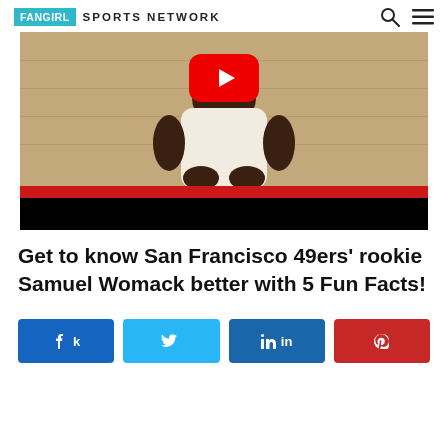FANGIRL SPORTS NETWORK
[Figure (screenshot): Video thumbnail showing a person in a white tank top in front of a cinder block wall with a YouTube play button overlay]
Get to know San Francisco 49ers' rookie Samuel Womack better with 5 Fun Facts!
Share buttons: Facebook, Twitter, LinkedIn, Pinterest